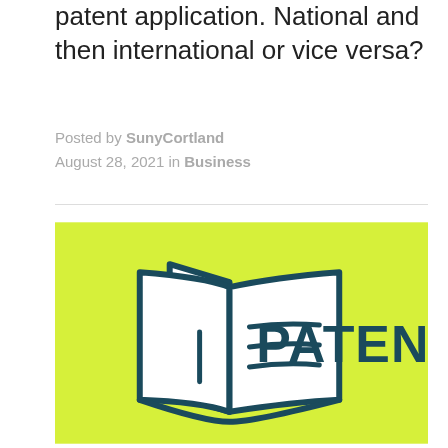patent application. National and then international or vice versa?
Posted by SunyCortland August 28, 2021 in Business
[Figure (illustration): A yellow-green background with an open book/document icon drawn in dark teal outline style on the left, and the word PATENT in large bold dark teal capital letters on the right.]